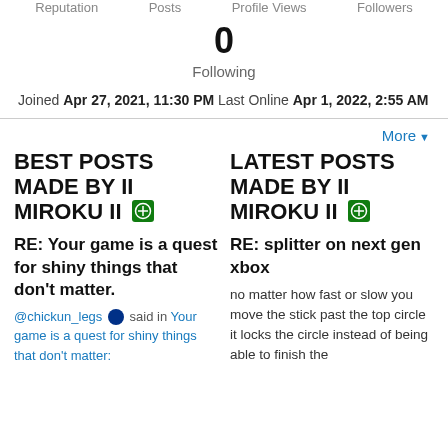Reputation   Posts   Profile Views   Followers
0
Following
Joined Apr 27, 2021, 11:30 PM  Last Online Apr 1, 2022, 2:55 AM
More ▼
BEST POSTS MADE BY II MIROKU II [xbox icon]
LATEST POSTS MADE BY II MIROKU II [xbox icon]
RE: Your game is a quest for shiny things that don't matter.
@chickun_legs [ps icon] said in Your game is a quest for shiny things that don't matter:
RE: splitter on next gen xbox
no matter how fast or slow you move the stick past the top circle it locks the circle instead of being able to finish the